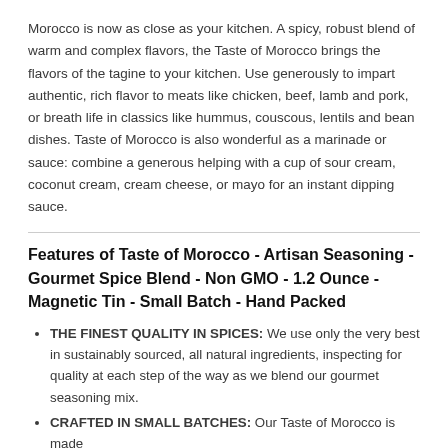Morocco is now as close as your kitchen. A spicy, robust blend of warm and complex flavors, the Taste of Morocco brings the flavors of the tagine to your kitchen. Use generously to impart authentic, rich flavor to meats like chicken, beef, lamb and pork, or breath life in classics like hummus, couscous, lentils and bean dishes. Taste of Morocco is also wonderful as a marinade or sauce: combine a generous helping with a cup of sour cream, coconut cream, cream cheese, or mayo for an instant dipping sauce.
Features of Taste of Morocco - Artisan Seasoning - Gourmet Spice Blend - Non GMO - 1.2 Ounce - Magnetic Tin - Small Batch - Hand Packed
THE FINEST QUALITY IN SPICES: We use only the very best in sustainably sourced, all natural ingredients, inspecting for quality at each step of the way as we blend our gourmet seasoning mix.
CRAFTED IN SMALL BATCHES: Our Taste of Morocco is made